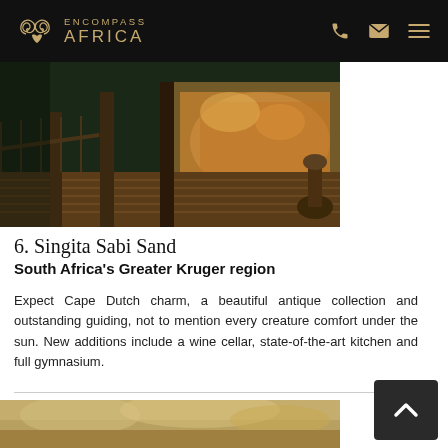ENCOMPASS AFRICA
[Figure (photo): Lodge outdoor deck with wooden flooring, railing, pillars and warm interior lighting at dusk]
6. Singita Sabi Sand
South Africa's Greater Kruger region
Expect Cape Dutch charm, a beautiful antique collection and outstanding guiding, not to mention every creature comfort under the sun. New additions include a wine cellar, state-of-the-art kitchen and full gymnasium.
[Figure (photo): Partial view of a second lodge photo at bottom of page — sandy/golden landscape tones]